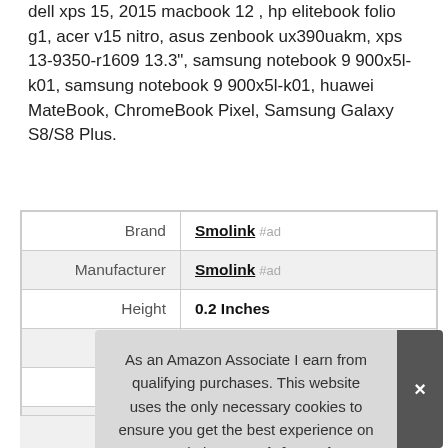dell xps 15, 2015 macbook 12 , hp elitebook folio g1, acer v15 nitro, asus zenbook ux390uakm, xps 13-9350-r1609 13.3", samsung notebook 9 900x5l-k01, samsung notebook 9 900x5l-k01, huawei MateBook, ChromeBook Pixel, Samsung Galaxy S8/S8 Plus.
|  |  |
| --- | --- |
| Brand | Smolink #ad |
| Manufacturer | Smolink #ad |
| Height | 0.2 Inches |
| Length | 180 Inches |
| Width | 6 Inches |
| P |  |
As an Amazon Associate I earn from qualifying purchases. This website uses the only necessary cookies to ensure you get the best experience on our website. More information